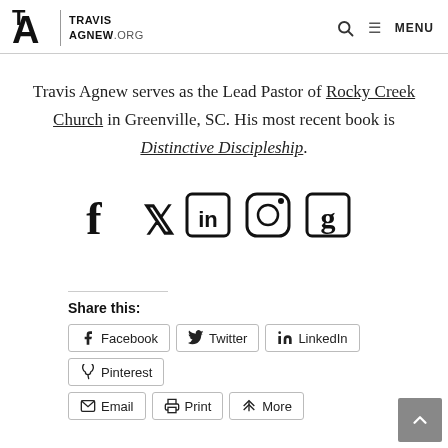TRAVIS AGNEW.ORG — MENU
Travis Agnew serves as the Lead Pastor of Rocky Creek Church in Greenville, SC. His most recent book is Distinctive Discipleship.
[Figure (infographic): Social media icons: Facebook, Twitter, LinkedIn, Instagram, Goodreads]
Share this:
Share buttons: Facebook, Twitter, LinkedIn, Pinterest, Email, Print, More